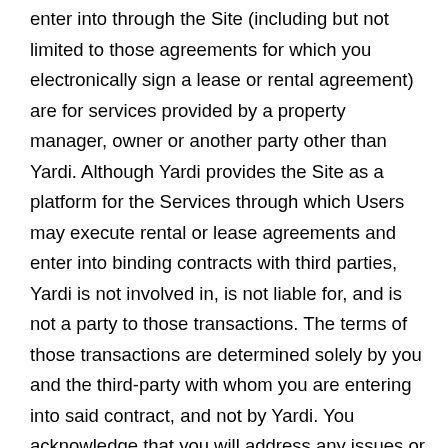enter into through the Site (including but not limited to those agreements for which you electronically sign a lease or rental agreement) are for services provided by a property manager, owner or another party other than Yardi. Although Yardi provides the Site as a platform for the Services through which Users may execute rental or lease agreements and enter into binding contracts with third parties, Yardi is not involved in, is not liable for, and is not a party to those transactions. The terms of those transactions are determined solely by you and the third-party with whom you are entering into said contract, and not by Yardi. You acknowledge that you will address any issues or concerns with such agreements with said third-parties directly, rather than Yardi. Yardi shall not be involved in any issues relating to such agreements except where the issue is